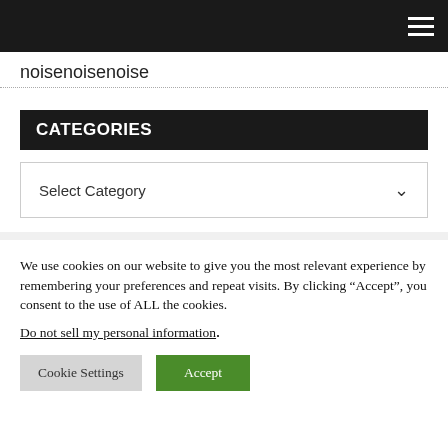noisenoisenoise
CATEGORIES
Select Category
We use cookies on our website to give you the most relevant experience by remembering your preferences and repeat visits. By clicking “Accept”, you consent to the use of ALL the cookies. Do not sell my personal information.
Cookie Settings  Accept